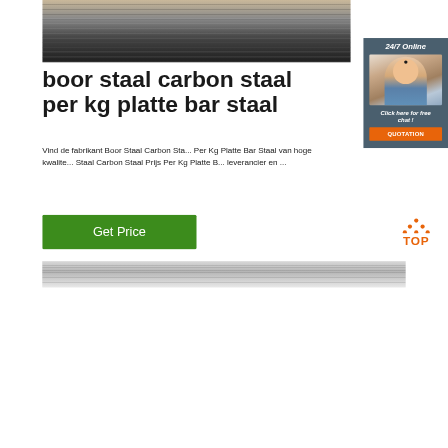[Figure (photo): Close-up photo of stacked dark grey steel flat bars/sheets with linear texture]
[Figure (photo): 24/7 online customer service sidebar with woman wearing headset and orange QUOTATION button]
boor staal carbon staal per kg platte bar staal
Vind de fabrikant Boor Staal Carbon Staal Prijs Per Kg Platte Bar Staal van hoge kwaliteit voor de Boor Staal Carbon Staal Prijs Per Kg Platte Bar Staal, leverancier en ...
[Figure (other): Green Get Price button]
[Figure (logo): Orange TOP logo with triangle dots above the text TOP]
[Figure (photo): Bottom partial photo of steel material surface in grey tones]